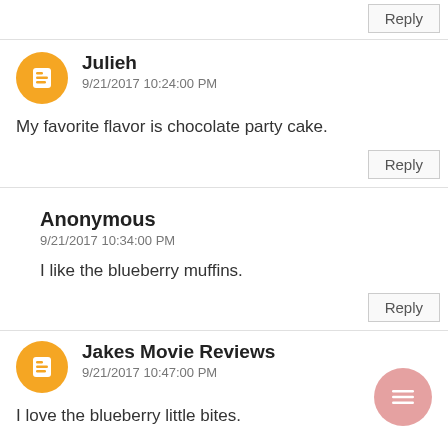Reply
Julieh
9/21/2017 10:24:00 PM
My favorite flavor is chocolate party cake.
Reply
Anonymous
9/21/2017 10:34:00 PM
I like the blueberry muffins.
Reply
Jakes Movie Reviews
9/21/2017 10:47:00 PM
I love the blueberry little bites.